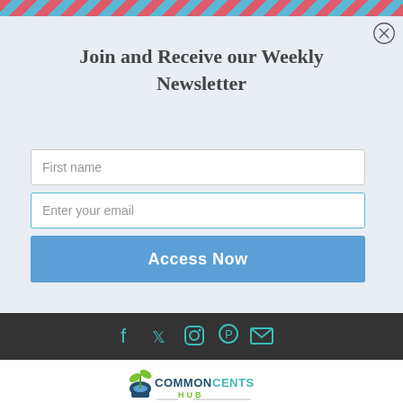Join and Receive our Weekly Newsletter
First name
Enter your email
Access Now
[Figure (logo): Common Cents Hub logo with plant sprouting from coin pot]
[Figure (infographic): Social media icons: Facebook, Twitter, Instagram, Pinterest, Email on dark background bar]